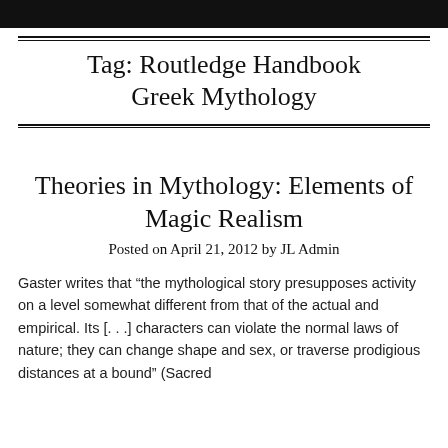Tag: Routledge Handbook Greek Mythology
Theories in Mythology: Elements of Magic Realism
Posted on April 21, 2012 by JL Admin
Gaster writes that “the mythological story presupposes activity on a level somewhat different from that of the actual and empirical. Its [. . .] characters can violate the normal laws of nature; they can change shape and sex, or traverse prodigious distances at a bound” (Sacred